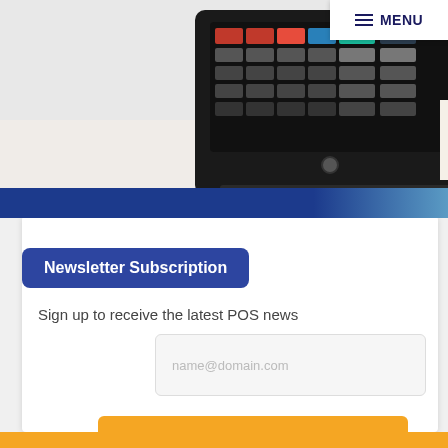[Figure (photo): POS terminal touchscreen device, partially visible at top of page]
MENU
Newsletter Subscription
Sign up to receive the latest POS news
name@domain.com
Subscribe